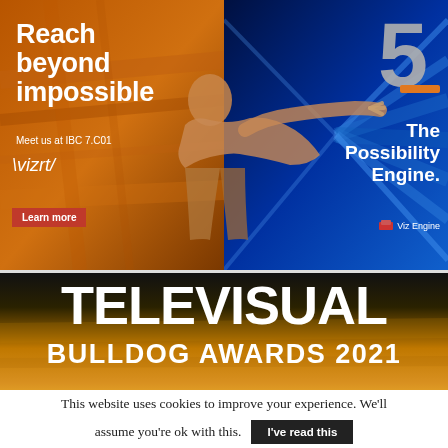[Figure (illustration): Advertisement banner split into two halves. Left side: warm orange/brown tone with text 'Reach beyond impossible', 'Meet us at IBC 7.C01', Vizrt logo, and 'Learn more' button. Right side: blue tone with large '5' numeral, 'The Possibility Engine.', and 'Viz Engine' label. A silhouetted person reaching out overlaps the center.]
Reach beyond impossible
Meet us at IBC 7.C01
Learn more
5
The Possibility Engine.
Viz Engine
[Figure (illustration): Televisual Bulldog Awards 2021 banner with dark to golden gradient background and large white bold text.]
TELEVISUAL
BULLDOG AWARDS 2021
This website uses cookies to improve your experience. We'll assume you're ok with this.
I've read this